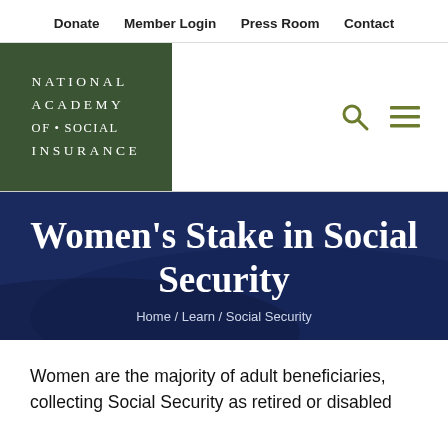Donate   Member Login   Press Room   Contact
[Figure (logo): National Academy of Social Insurance logo — dark green square with white serif text reading NATIONAL ACADEMY OF·SOCIAL INSURANCE]
Women's Stake in Social Security
Home / Learn / Social Security
Women are the majority of adult beneficiaries, collecting Social Security as retired or disabled